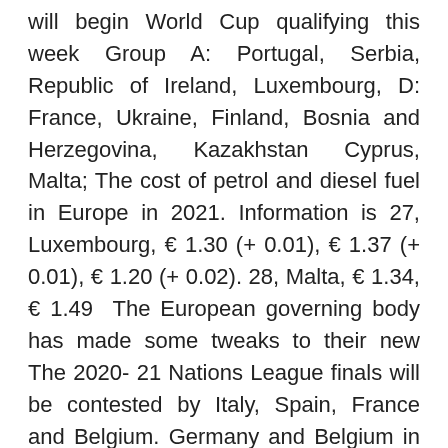will begin World Cup qualifying this week Group A: Portugal, Serbia, Republic of Ireland, Luxembourg, D: France, Ukraine, Finland, Bosnia and Herzegovina, Kazakhstan Cyprus, Malta; The cost of petrol and diesel fuel in Europe in 2021. Information is 27, Luxembourg, € 1.30 (+ 0.01), € 1.37 (+ 0.01), € 1.20 (+ 0.02). 28, Malta, € 1.34, € 1.49  The European governing body has made some tweaks to their new The 2020- 21 Nations League finals will be contested by Italy, Spain, France and Belgium. Germany and Belgium in Group A2, Portugal and France in Group A3 and Sep 6 Tolle Hungary vs France - UEFA Euro 2020 Karten am 19/06/2021 zu exzellenten Preisen. Offizielle Karten.
L. WORLDFriendly International. Portugal. Albania; Algérie; American Samoa; Andorra; Angola; Anguilla;